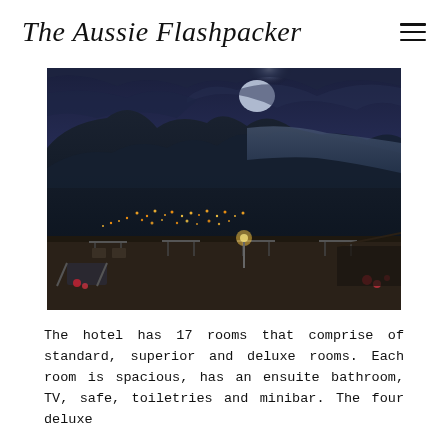The Aussie Flashpacker
[Figure (photo): Night view from a hotel terrace or balcony overlooking an illuminated coastal town with mountains and sea in the background. Tables and chairs are visible on the terrace, with warm orange lights from the town below and dramatic cloudy sky above.]
The hotel has 17 rooms that comprise of standard, superior and deluxe rooms. Each room is spacious, has an ensuite bathroom, TV, safe, toiletries and minibar. The four deluxe